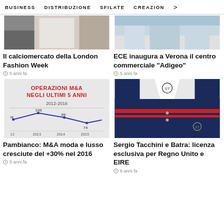BUSINESS   DISTRIBUZIONE   SFILATE   CREAZION >
[Figure (photo): Fashion photo showing white clothing/outfit]
Il calciomercato della London Fashion Week
5 anni fa
[Figure (photo): ECE commercial centre building exterior]
ECE inaugura a Verona il centro commerciale "Adigeo"
5 anni fa
[Figure (line-chart): Operazioni M&A negli ultimi 5 anni 2012-2016, line chart showing values 4, 106, 89, 74 for years 2012-2015]
Pambianco: M&A moda e lusso cresciute del +30% nel 2016
5 anni fa
[Figure (photo): Sergio Tacchini polo shirts navy and white with logo]
Sergio Tacchini e Batra: licenza esclusiva per Regno Unito e EIRE
6 anni fa